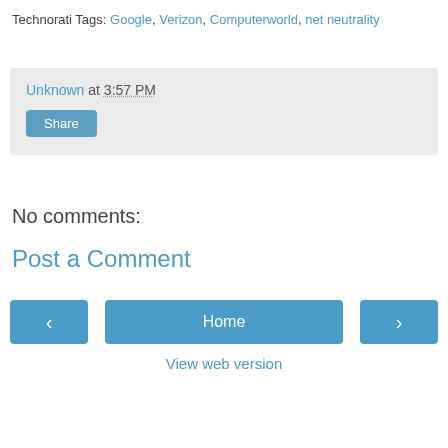Technorati Tags: Google, Verizon, Computerworld, net neutrality
Unknown at 3:57 PM
Share
No comments:
Post a Comment
‹
Home
›
View web version